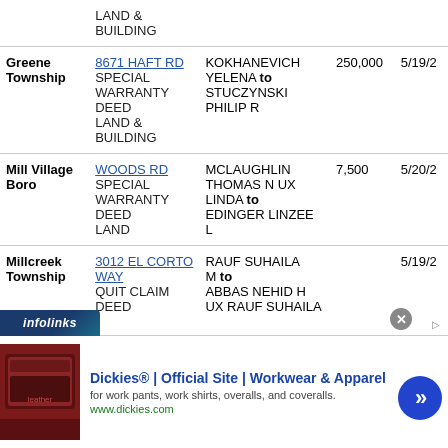| Municipality | Address/Deed Type | Parties | Amount | Date |
| --- | --- | --- | --- | --- |
|  | LAND & BUILDING |  |  |  |
| Greene Township | 8671 HAFT RD
SPECIAL WARRANTY DEED
LAND & BUILDING | KOKHANEVICH YELENA to STUCZYNSKI PHILIP R | 250,000 | 5/19/2 |
| Mill Village Boro | WOODS RD
SPECIAL WARRANTY DEED
LAND | MCLAUGHLIN THOMAS N UX LINDA to EDINGER LINZEE L | 7,500 | 5/20/2 |
| Millcreek Township | 3012 EL CORTO WAY
QUIT CLAIM DEED | RAUF SUHAILA M to ABBAS NEHID H UX RAUF SUHAILA |  | 5/19/2 |
[Figure (screenshot): Advertisement banner for Dickies Official Site - Workwear & Apparel with infolinks badge and navigation arrow]